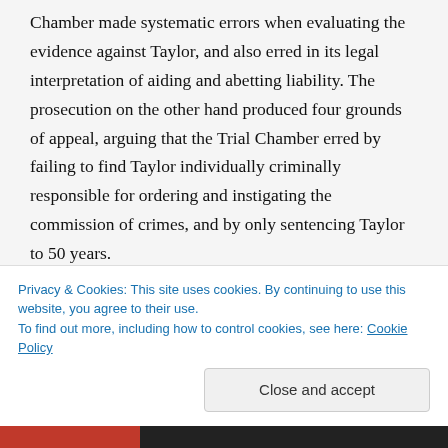Chamber made systematic errors when evaluating the evidence against Taylor, and also erred in its legal interpretation of aiding and abetting liability. The prosecution on the other hand produced four grounds of appeal, arguing that the Trial Chamber erred by failing to find Taylor individually criminally responsible for ordering and instigating the commission of crimes, and by only sentencing Taylor to 50 years.
In the end, and after a year of deliberations, the Appeals Chamber more or less affirmed the Trial Judgment, with few exceptions.  The Appeals Chamber rejected all
Privacy & Cookies: This site uses cookies. By continuing to use this website, you agree to their use.
To find out more, including how to control cookies, see here: Cookie Policy
Close and accept